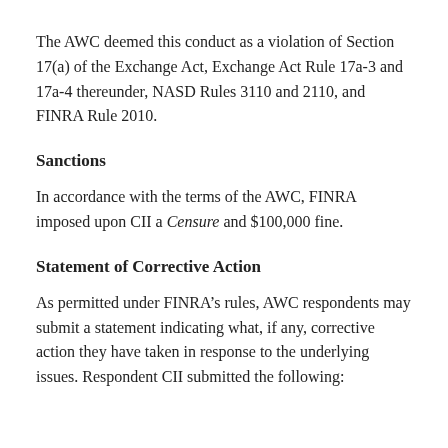The AWC deemed this conduct as a violation of Section 17(a) of the Exchange Act, Exchange Act Rule 17a-3 and 17a-4 thereunder, NASD Rules 3110 and 2110, and FINRA Rule 2010.
Sanctions
In accordance with the terms of the AWC, FINRA imposed upon CII a Censure and $100,000 fine.
Statement of Corrective Action
As permitted under FINRA's rules, AWC respondents may submit a statement indicating what, if any, corrective action they have taken in response to the underlying issues. Respondent CII submitted the following: